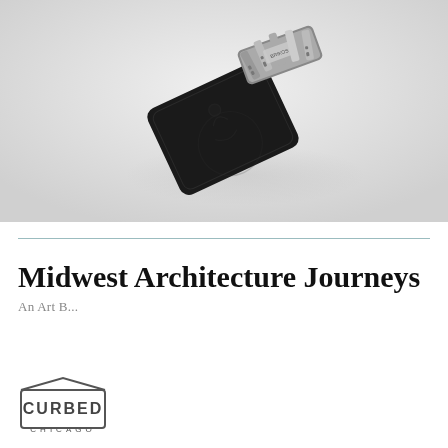[Figure (photo): Black leather key wallet/organizer with engraved illustration, fanned out showing metal keys and tools on light grey background]
Midwest Architecture Journeys
[Figure (logo): Curbed Chicago logo — house-shaped icon with CURBED text inside and CHICAGO text below]